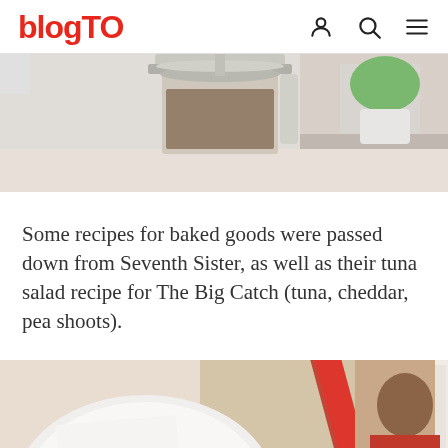blogTO
[Figure (photo): Top portion of a French press coffee maker, silver and glass, with a plant in the background]
Some recipes for baked goods were passed down from Seventh Sister, as well as their tuna salad recipe for The Big Catch (tuna, cheddar, pea shoots).
[Figure (photo): Overhead shot of a baked brownie on a white plate with a cup of coffee and a magazine in the background]